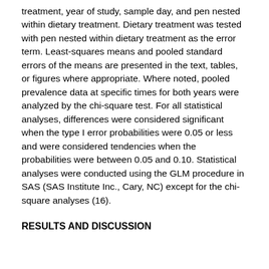treatment, year of study, sample day, and pen nested within dietary treatment. Dietary treatment was tested with pen nested within dietary treatment as the error term. Least-squares means and pooled standard errors of the means are presented in the text, tables, or figures where appropriate. Where noted, pooled prevalence data at specific times for both years were analyzed by the chi-square test. For all statistical analyses, differences were considered significant when the type I error probabilities were 0.05 or less and were considered tendencies when the probabilities were between 0.05 and 0.10. Statistical analyses were conducted using the GLM procedure in SAS (SAS Institute Inc., Cary, NC) except for the chi-square analyses (16).
RESULTS AND DISCUSSION